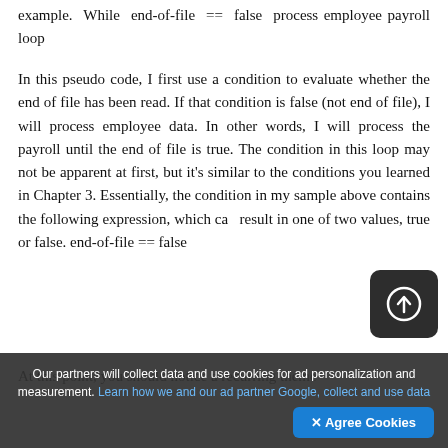example. While end-of-file == false process employee payroll loop
In this pseudo code, I first use a condition to evaluate whether the end of file has been read. If that condition is false (not end of file), I will process employee data. In other words, I will process the payroll until the end of file is true. The condition in this loop may not be apparent at first, but it's similar to the conditions you learned in Chapter 3. Essentially, the condition in my sample above contains the following expression, which can result in one of two values, true or false. end-of-file == false
At this point, you should notice a recurring theme
[Figure (other): Dark rounded square button with a circular upload/navigate icon (white circle with up arrow)]
Our partners will collect data and use cookies for ad personalization and measurement. Learn how we and our ad partner Google, collect and use data